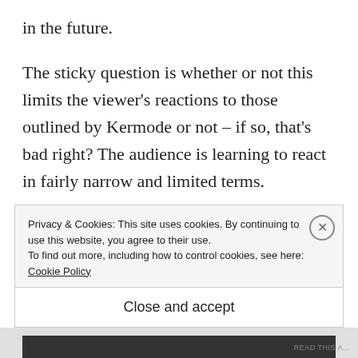in the future.
The sticky question is whether or not this limits the viewer's reactions to those outlined by Kermode or not – if so, that's bad right? The audience is learning to react in fairly narrow and limited terms.
I'd be a bit more skeptical about this though, for the very reason that I don't think
Privacy & Cookies: This site uses cookies. By continuing to use this website, you agree to their use. To find out more, including how to control cookies, see here: Cookie Policy
Close and accept